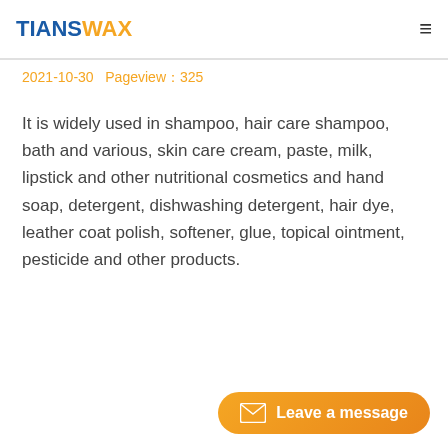TIANSWAX
2021-10-30   Pageview：325
It is widely used in shampoo, hair care shampoo, bath and various, skin care cream, paste, milk, lipstick and other nutritional cosmetics and hand soap, detergent, dishwashing detergent, hair dye, leather coat polish, softener, glue, topical ointment, pesticide and other products.
Leave a message